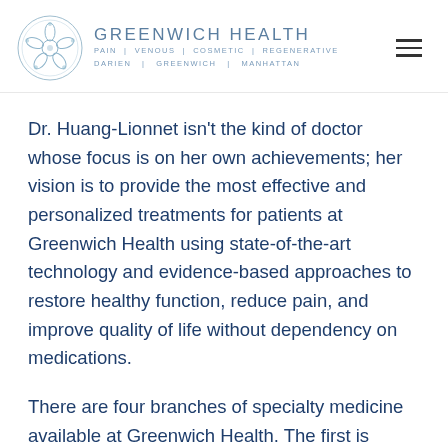GREENWICH HEALTH | PAIN | VENOUS | COSMETIC | REGENERATIVE | DARIEN | GREENWICH | MANHATTAN
Dr. Huang-Lionnet isn't the kind of doctor whose focus is on her own achievements; her vision is to provide the most effective and personalized treatments for patients at Greenwich Health using state-of-the-art technology and evidence-based approaches to restore healthy function, reduce pain, and improve quality of life without dependency on medications.
There are four branches of specialty medicine available at Greenwich Health. The first is interventional pain management, providing